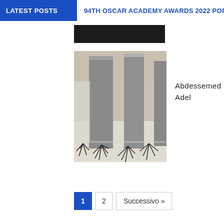LATEST POSTS
94TH OSCAR ACADEMY AWARDS 2022 POP
[Figure (photo): Dark thumbnail image placeholder at top]
[Figure (photo): Art installation photograph showing grey cylindrical columns with dark spiky plant sculptures scattered on a white floor in a large hall]
Abdessemed Adel
1
2
Successivo »